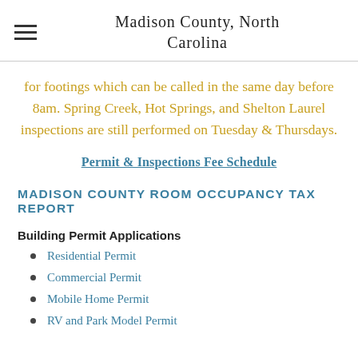Madison County, North Carolina
for footings which can be called in the same day before 8am. Spring Creek, Hot Springs, and Shelton Laurel inspections are still performed on Tuesday & Thursdays.
Permit & Inspections Fee Schedule
MADISON COUNTY ROOM OCCUPANCY TAX REPORT
Building Permit Applications
Residential Permit
Commercial Permit
Mobile Home Permit
RV and Park Model Permit